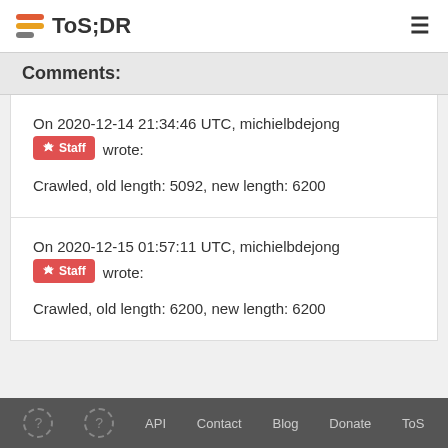ToS;DR
Comments:
On 2020-12-14 21:34:46 UTC, michielbdejong [Staff] wrote:

Crawled, old length: 5092, new length: 6200
On 2020-12-15 01:57:11 UTC, michielbdejong [Staff] wrote:

Crawled, old length: 6200, new length: 6200
API  Contact  Blog  Donate  ToS